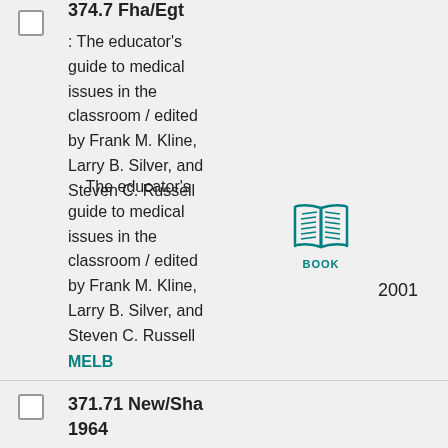374.7 Fha/Egt
: The educator's guide to medical issues in the classroom / edited by Frank M. Kline, Larry B. Silver, and Steven C. Russell
The educator's guide to medical issues in the classroom / edited by Frank M. Kline, Larry B. Silver, and Steven C. Russell
MELB
[Figure (illustration): Book icon with teal/green outline of an open book with pages, labeled BOOK]
2001
371.71 New/Sha
1964